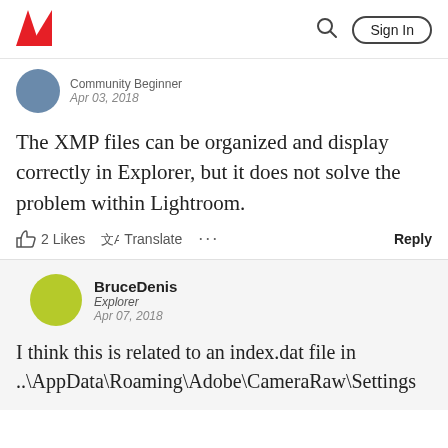Adobe | Sign In
Community Beginner
Apr 03, 2018
The XMP files can be organized and display correctly in Explorer, but it does not solve the problem within Lightroom.
2 Likes  Translate  ...  Reply
BruceDenis
Explorer
Apr 07, 2018
I think this is related to an index.dat file in ..\AppData\Roaming\Adobe\CameraRaw\Settings